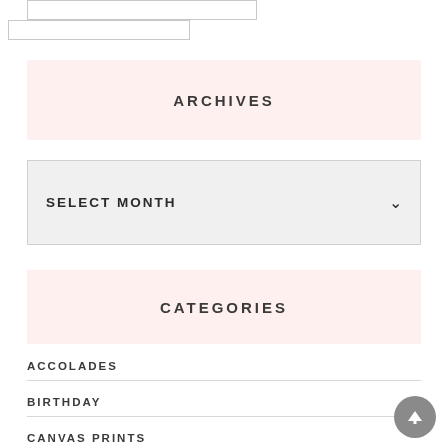[Figure (screenshot): Two small white input boxes with gray borders at the top of the page]
ARCHIVES
[Figure (screenshot): Dropdown selector showing SELECT MONTH with a chevron arrow on the right, on a light gray background]
CATEGORIES
ACCOLADES
BIRTHDAY
CANVAS PRINTS